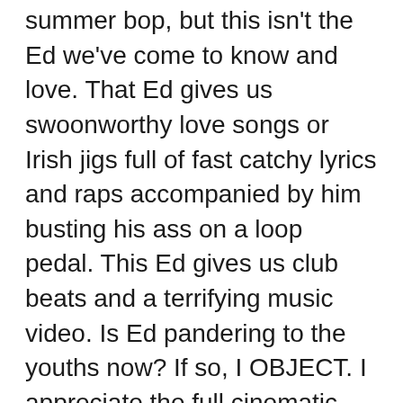summer bop, but this isn't the Ed we've come to know and love. That Ed gives us swoonworthy love songs or Irish jigs full of fast catchy lyrics and raps accompanied by him busting his ass on a loop pedal. This Ed gives us club beats and a terrifying music video. Is Ed pandering to the youths now? If so, I OBJECT. I appreciate the full cinematic effort for the music video because I love being taken on a visual musical adventure EXCEPT when it involves vampires and hordes of people just deflating in front of our very eyes. YOIKES. I remain hopeful that he did this just to